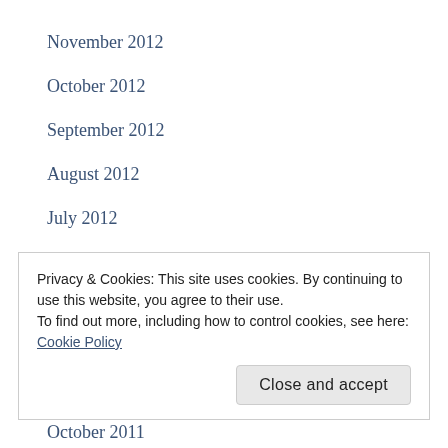November 2012
October 2012
September 2012
August 2012
July 2012
June 2012
May 2012
April 2012
March 2012
Privacy & Cookies: This site uses cookies. By continuing to use this website, you agree to their use.
To find out more, including how to control cookies, see here: Cookie Policy
Close and accept
October 2011